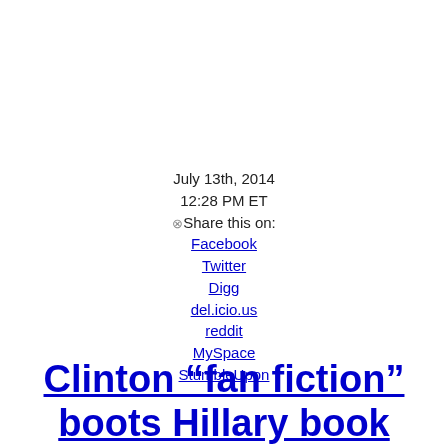July 13th, 2014
12:28 PM ET
⊗Share this on:
Facebook
Twitter
Digg
del.icio.us
reddit
MySpace
StumbleUpon
Clinton “fan fiction” boots Hillary book